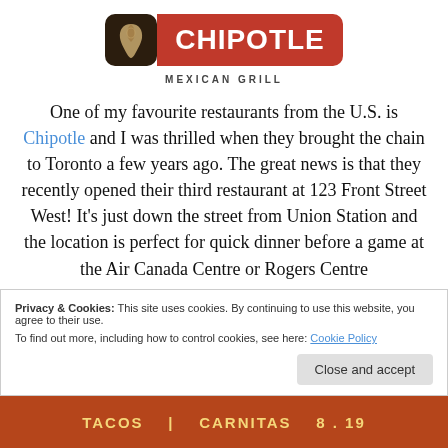[Figure (logo): Chipotle Mexican Grill logo: dark brown square with chili pepper icon on left, red rounded rectangle with 'CHIPOTLE' text on right, 'MEXICAN GRILL' tagline below]
One of my favourite restaurants from the U.S. is Chipotle and I was thrilled when they brought the chain to Toronto a few years ago. The great news is that they recently opened their third restaurant at 123 Front Street West! It's just down the street from Union Station and the location is perfect for quick dinner before a game at the Air Canada Centre or Rogers Centre
Privacy & Cookies: This site uses cookies. By continuing to use this website, you agree to their use.
To find out more, including how to control cookies, see here: Cookie Policy